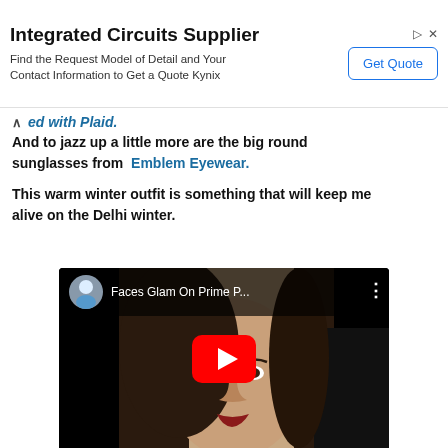[Figure (screenshot): Advertisement banner for Integrated Circuits Supplier (Kynix) with Get Quote button]
ed with Plaid.
And to jazz up a little more are the big round sunglasses from Emblem Eyewear.
This warm winter outfit is something that will keep me alive on the Delhi winter.
[Figure (screenshot): Embedded YouTube video thumbnail showing a woman with the title 'Faces Glam On Prime P...' with a red play button overlay]